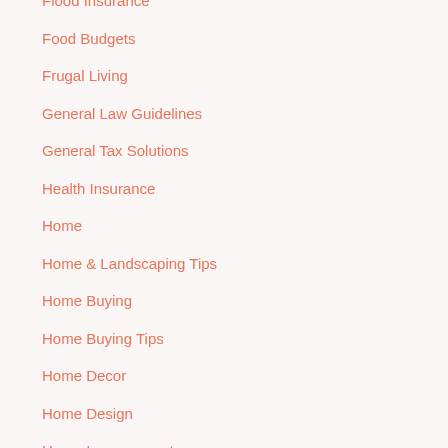Flood Insurance
Food Budgets
Frugal Living
General Law Guidelines
General Tax Solutions
Health Insurance
Home
Home & Landscaping Tips
Home Buying
Home Buying Tips
Home Decor
Home Design
Home Improvement
Home Mortgage Guidelines